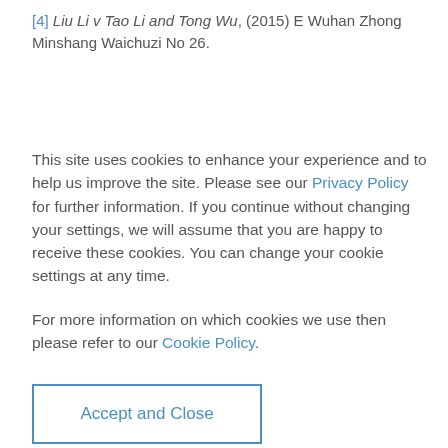[4] Liu Li v Tao Li and Tong Wu, (2015) E Wuhan Zhong Minshang Waichuzi No 26.
This site uses cookies to enhance your experience and to help us improve the site. Please see our Privacy Policy for further information. If you continue without changing your settings, we will assume that you are happy to receive these cookies. You can change your cookie settings at any time.
For more information on which cookies we use then please refer to our Cookie Policy.
Accept and Close